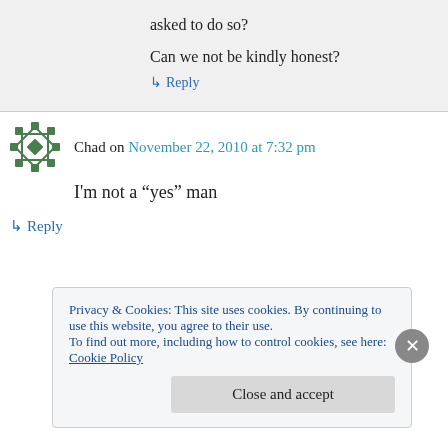asked to do so?
Can we not be kindly honest?
↳ Reply
Chad on November 22, 2010 at 7:32 pm
I'm not a “yes” man
↳ Reply
Privacy & Cookies: This site uses cookies. By continuing to use this website, you agree to their use. To find out more, including how to control cookies, see here: Cookie Policy
Close and accept